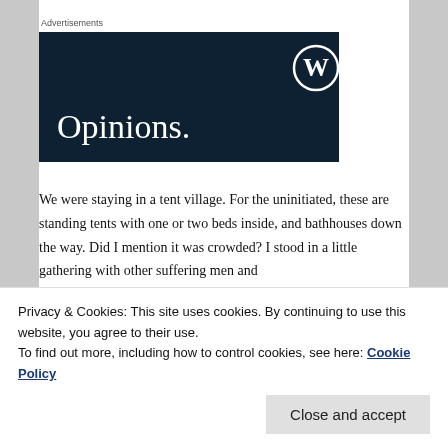Advertisements
[Figure (illustration): Dark navy blue advertisement banner with WordPress logo (W in circle) top right and the word 'Opinions.' in white serif font at lower left]
We were staying in a tent village. For the uninitiated, these are standing tents with one or two beds inside, and bathhouses down the way. Did I mention it was crowded? I stood in a little gathering with other suffering men and
Privacy & Cookies: This site uses cookies. By continuing to use this website, you agree to their use.
To find out more, including how to control cookies, see here: Cookie Policy
Close and accept